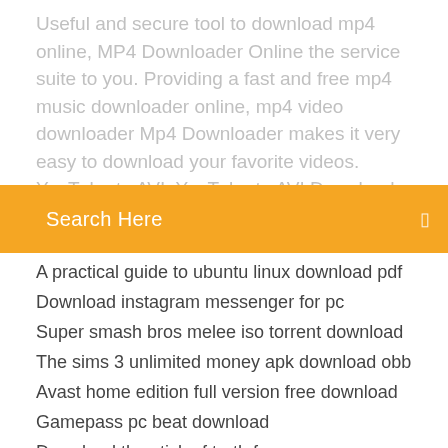Useful and secure tool to download mp4 online, MP4 Downloader Online the service suite to you. Providing a fast and free mp4 music downloader online, mp4 video downloader Mp4 Downloader makes it very easy to download your favorite videos. YouTube to AVI, YouTube to AVI Downloader and Converter.
Search Here
A practical guide to ubuntu linux download pdf
Download instagram messenger for pc
Super smash bros melee iso torrent download
The sims 3 unlimited money apk download obb
Avast home edition full version free download
Gamepass pc beat download
Download the stick of truth free pc
Digital download app for customers
Edius pro 7 free download full version
Tik tok chinese version download for pc